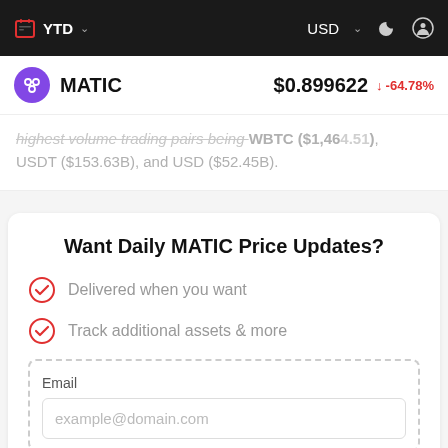YTD  USD
MATIC  $0.899622  -64.78%
highest volume trading pairs being WBTC ($1,464.51), USDT ($153.63B), and USD ($52.45B).
Want Daily MATIC Price Updates?
Delivered when you want
Track additional assets & more
Email
example@domain.com